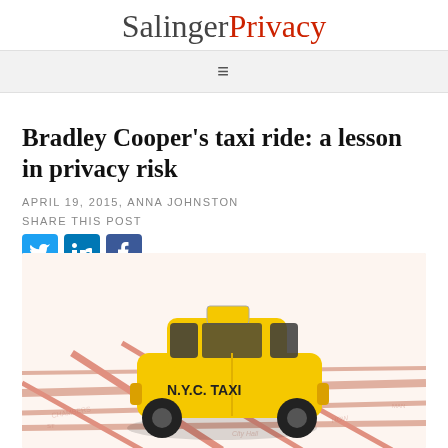SalingerPrivacy
Bradley Cooper's taxi ride: a lesson in privacy risk
APRIL 19, 2015, ANNA JOHNSTON
SHARE THIS POST
[Figure (photo): Toy NYC yellow taxi cab sitting on a street map showing Lower Manhattan area including Chambers St, Broadway, City Hall]